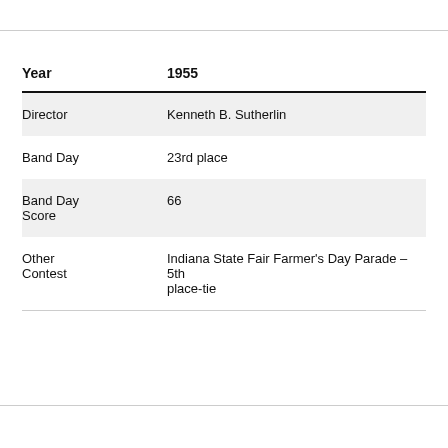| Year | 1955 |
| --- | --- |
| Director | Kenneth B. Sutherlin |
| Band Day | 23rd place |
| Band Day Score | 66 |
| Other Contest | Indiana State Fair Farmer's Day Parade - 5th place-tie |